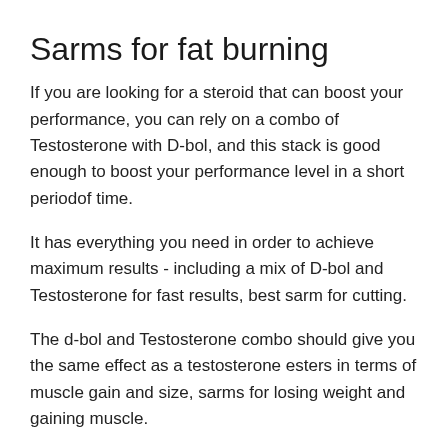Sarms for fat burning
If you are looking for a steroid that can boost your performance, you can rely on a combo of Testosterone with D-bol, and this stack is good enough to boost your performance level in a short periodof time.
It has everything you need in order to achieve maximum results - including a mix of D-bol and Testosterone for fast results, best sarm for cutting.
The d-bol and Testosterone combo should give you the same effect as a testosterone esters in terms of muscle gain and size, sarms for losing weight and gaining muscle.
The D-bol and Testosterone combo should increase your recovery rate, enhance your muscle building abilities, and can lead to a